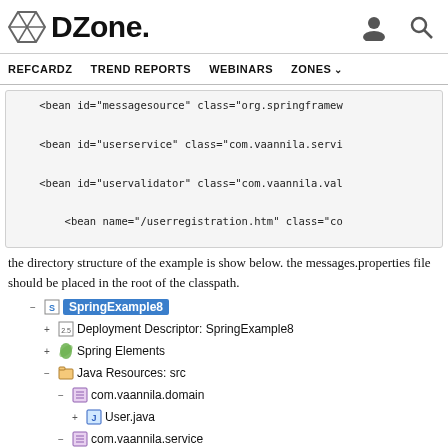DZone. REFCARDZ TREND REPORTS WEBINARS ZONES
[Figure (screenshot): Code snippet showing XML bean definitions: messagesource, userservice, uservalidator beans and /userregistration.htm bean, closing </beans> tag]
the directory structure of the example is show below. the messages.properties file should be placed in the root of the classpath.
[Figure (screenshot): Eclipse project tree showing SpringExample8 project with Deployment Descriptor: SpringExample8, Spring Elements, Java Resources: src with com.vaannila.domain (User.java) and com.vaannila.service]